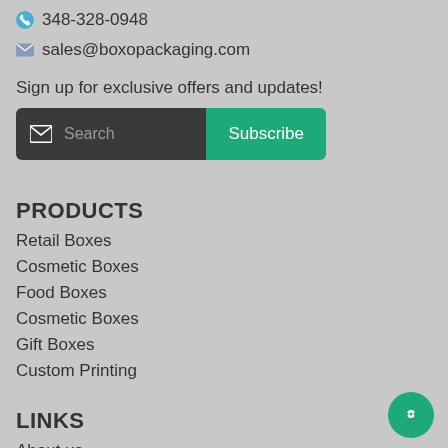348-328-0948
sales@boxopackaging.com
Sign up for exclusive offers and updates!
[Figure (screenshot): Email subscription bar with dark input field showing envelope icon and 'Search' placeholder, and green 'Subscribe' button]
PRODUCTS
Retail Boxes
Cosmetic Boxes
Food Boxes
Cosmetic Boxes
Gift Boxes
Custom Printing
LINKS
About us
Portfolio